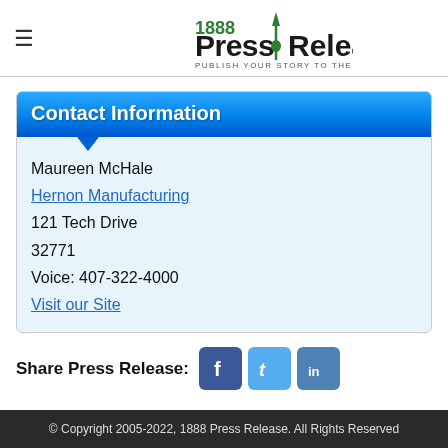1888 Press Release — PUBLISH YOUR STORY TO THE WORLD
Contact Information
Maureen McHale
Hernon Manufacturing
121 Tech Drive
32771
Voice: 407-322-4000
Visit our Site
Share Press Release:
© Copyright 2005-2022, 1888 Press Release. All Rights Reserved